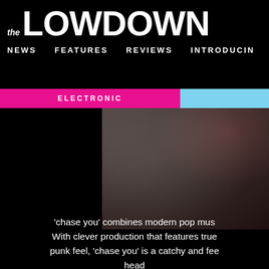the LOWDOWN
NEWS   FEATURES   REVIEWS   INTRODUCING
ELECTRONIC
[Figure (photo): Abstract blurred gradient image with muted grey, brown, and dark tones — likely an album cover artwork]
'chase you' combines modern pop mus... With clever production that features true... punk feel, 'chase you' is a catchy and fee... head